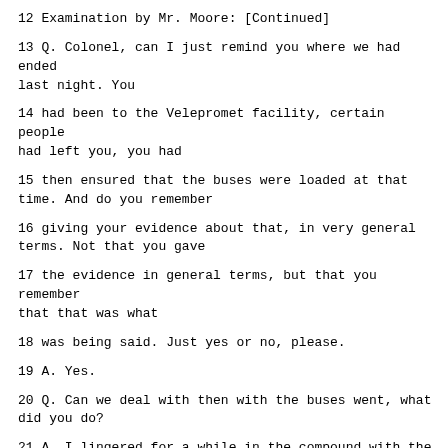12 Examination by Mr. Moore: [Continued]
13 Q. Colonel, can I just remind you where we had ended last night. You
14 had been to the Velepromet facility, certain people had left you, you had
15 then ensured that the buses were loaded at that time. And do you remember
16 giving your evidence about that, in very general terms. Not that you gave
17 the evidence in general terms, but that you remember that that was what
18 was being said. Just yes or no, please.
19 A. Yes.
20 Q. Can we deal with then with the buses went, what did you do?
21 A. I lingered for a while in the compound with the officers who were
22 still there, Branko Korica, Second Lieutenant Cekic and his junior
23 officers. At this point in time I managed to notice